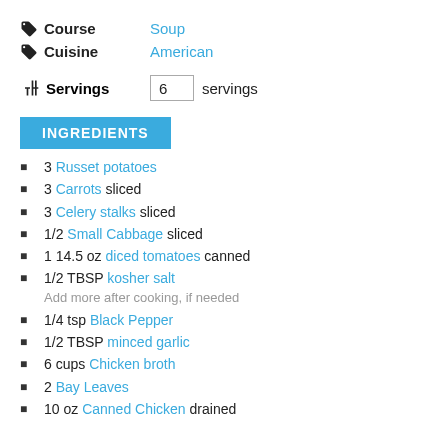Course: Soup
Cuisine: American
Servings: 6 servings
INGREDIENTS
3 Russet potatoes
3 Carrots sliced
3 Celery stalks sliced
1/2 Small Cabbage sliced
1 14.5 oz diced tomatoes canned
1/2 TBSP kosher salt — Add more after cooking, if needed
1/4 tsp Black Pepper
1/2 TBSP minced garlic
6 cups Chicken broth
2 Bay Leaves
10 oz Canned Chicken drained